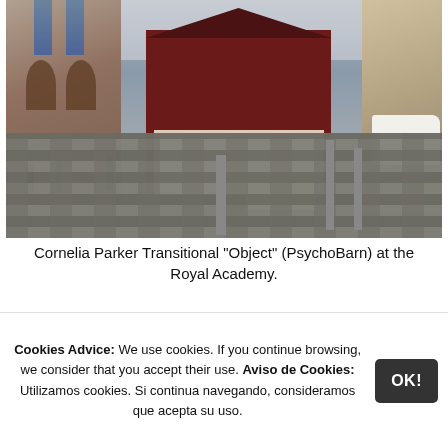[Figure (photo): A red wooden barn-like structure (PsychoBarn by Cornelia Parker) placed in a public square in front of the Royal Academy building. Cobblestone pavement in foreground, classical stone buildings on left and right, a white van visible on the far right, people walking in the background.]
Cornelia Parker Transitional "Object" (PsychoBarn) at the Royal Academy.
[Figure (photo): Partial view of a second photo, mostly showing a beige/tan background, likely another view related to the same subject.]
Cookies Advice: We use cookies. If you continue browsing, we consider that you accept their use. Aviso de Cookies: Utilizamos cookies. Si continua navegando, consideramos que acepta su uso.